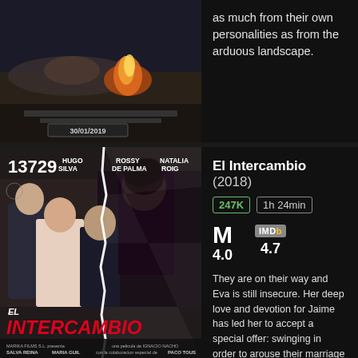as much from their own personalities as from the arduous landscape.
[Figure (photo): Movie poster showing fire scene, dated 30/01/2019]
[Figure (photo): El Intercambio (2018) movie poster with actors Hugo Silva, Rossy De Palma, Natalia Roig. Rank number 13729.]
El Intercambio (2018)
247K  1h 24min
M 4.0   IMDb 4.7
They are on their way and Eva is still insecure. Her deep love and devotion for Jaime has led her to accept a special offer: swinging in order to arouse their marriage after fifteen years. ... See full summary»